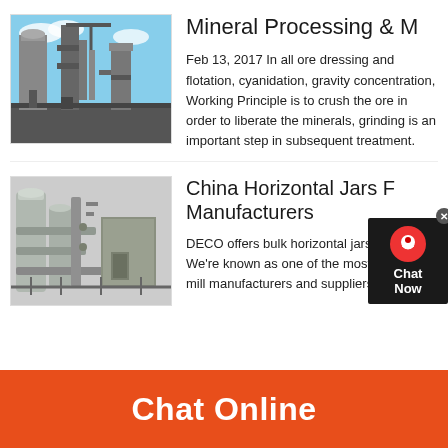[Figure (photo): Industrial mineral processing facility with silos, pipes, and machinery against a blue sky]
Mineral Processing & M
Feb 13, 2017 In all ore dressing and flotation, cyanidation, gravity concentration, Working Principle is to crush the ore in order to liberate the minerals, grinding is an important step in subsequent treatment.
[Figure (photo): Industrial piping and equipment at a processing plant, grey tones]
China Horizontal Jars F Manufacturers
DECO offers bulk horizontal jars for price. We're known as one of the most roll ball mill manufacturers and suppliers.
Chat Online